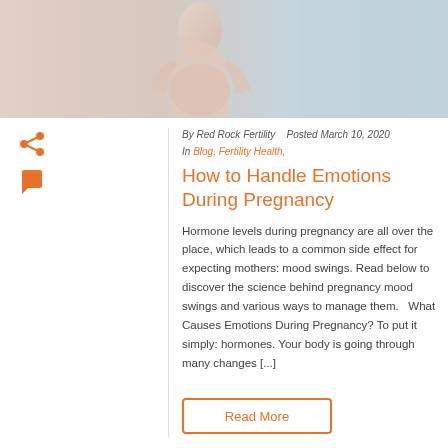[Figure (photo): Photo of a pregnant woman in a light pink/beige outfit against a soft light background]
By Red Rock Fertility   Posted March 10, 2020
In Blog, Fertility Health,
How to Handle Emotions During Pregnancy
Hormone levels during pregnancy are all over the place, which leads to a common side effect for expecting mothers: mood swings. Read below to discover the science behind pregnancy mood swings and various ways to manage them.   What Causes Emotions During Pregnancy? To put it simply: hormones. Your body is going through many changes [...]
Read More